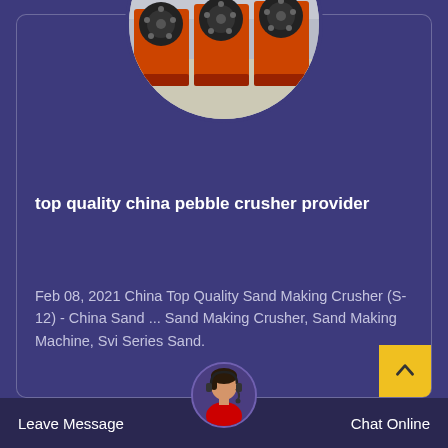[Figure (photo): Circular photo of red/orange industrial jaw crushers in a factory setting]
top quality china pebble crusher provider
Feb 08, 2021 China Top Quality Sand Making Crusher (S-12) - China Sand ... Sand Making Crusher, Sand Making Machine, Svi Series Sand.
[Figure (photo): Customer service representative avatar with headset]
Leave Message   Chat Online